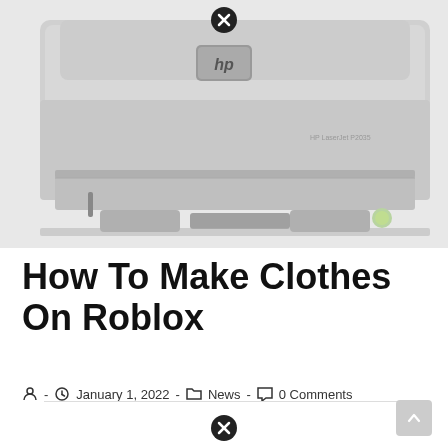[Figure (photo): HP LaserJet printer (gray/silver), front and lower portion visible, with HP logo on front panel. A close button (circled X) icon appears at the top center of the image.]
How To Make Clothes On Roblox
· January 1, 2022 · News · 0 Comments